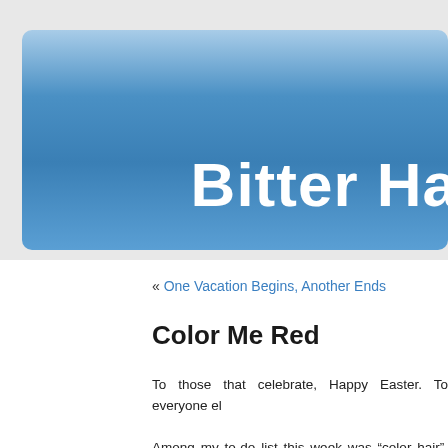[Figure (other): Blue gradient banner header with site title text 'Bitter Ha' partially visible on right side]
« One Vacation Begins, Another Ends
Color Me Red
To those that celebrate, Happy Easter. To everyone el
Among my to-do list this week was “color hair”. Bac professionally colored. I had never colored my hair be a pro do it. I thought a change would be nice and war like to be a redhead for a while. Besides, Beau Hunk he’s morally obligated to sleep only with me, I though to play with for a little while. Nothing drastic, just li